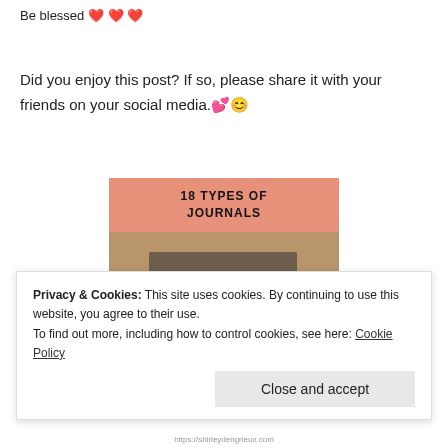Be blessed 💗💗💗
Did you enjoy this post? If so, please share it with your friends on your social media.💕😊
[Figure (illustration): Book cover graphic with salmon/peach banner reading '18 TYPES OF JOURNALS' above a photo of a stack of vintage journals/books]
Privacy & Cookies: This site uses cookies. By continuing to use this website, you agree to their use.
To find out more, including how to control cookies, see here: Cookie Policy
Close and accept
https://shirleydengrieux.com